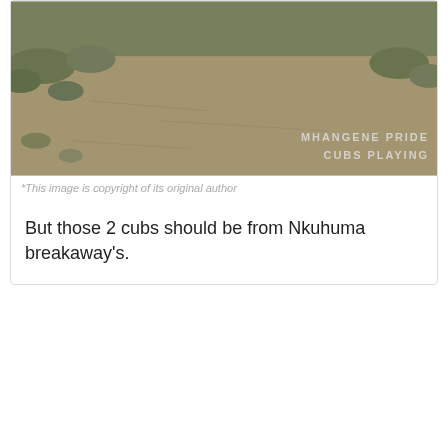[Figure (photo): Bottom portion of a photo showing a dirt path with sparse grass, watermarked with 'MHANGENE PRIDE CUBS PLAYING' in light grey text at bottom right]
*This image is copyright of its original author
But those 2 cubs should be from Nkuhuma breakaway's.